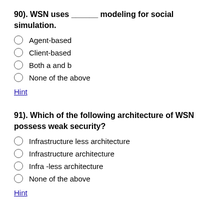90). WSN uses ______ modeling for social simulation.
Agent-based
Client-based
Both a and b
None of the above
Hint
91). Which of the following architecture of WSN possess weak security?
Infrastructure less architecture
Infrastructure architecture
Infra -less architecture
None of the above
Hint